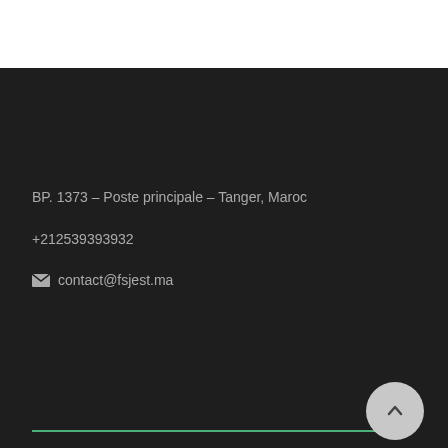BP. 1373 – Poste principale – Tanger, Maroc
+212539393932
contact@fsjest.ma